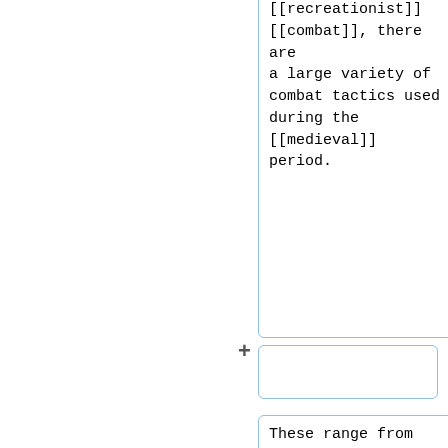[[recreationist]] [[combat]], there are a large variety of combat tactics used during the [[medieval]] period.
These range from the ''tricks'' of combat styles (specialist moves that may be unexpected) to tactics designed to gain a psycological (putting an opponent on the back foot or making them halter in their attack) or physiological advantage (higher